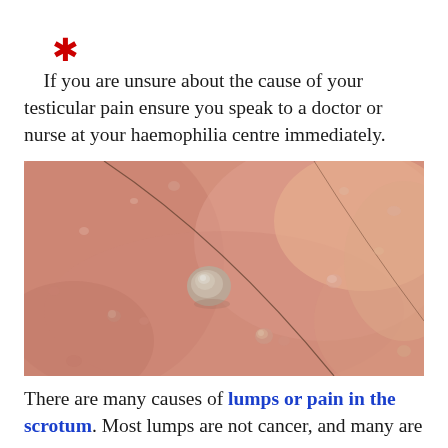* If you are unsure about the cause of your testicular pain ensure you speak to a doctor or nurse at your haemophilia centre immediately.
[Figure (photo): Close-up photograph of skin on the scrotum showing lumps and bumps, including one prominent raised lump/blister in the center, on pinkish skin texture with a hair visible crossing the image.]
There are many causes of lumps or pain in the scrotum. Most lumps are not cancer, and many are...